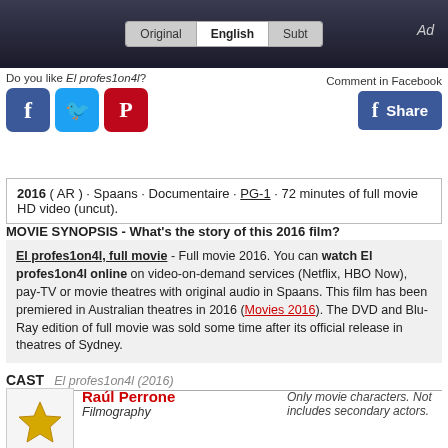[Figure (screenshot): Dark banner with Original/English/Subt tab buttons and Ad label]
Do you like El profes1on4l?
Comment in Facebook
[Figure (other): Facebook, Twitter, Pinterest social share icons and Facebook Share button]
2016 ( AR ) · Spaans · Documentaire · PG-1 · 72 minutes of full movie HD video (uncut).
MOVIE SYNOPSIS - What's the story of this 2016 film?
El profes1on4l, full movie - Full movie 2016. You can watch El profes1on4l online on video-on-demand services (Netflix, HBO Now), pay-TV or movie theatres with original audio in Spaans. This film has been premiered in Australian theatres in 2016 (Movies 2016). The DVD and Blu-Ray edition of full movie was sold some time after its official release in theatres of Sydney.
CAST  El profes1on4l (2016)
Raúl Perrone
Filmography
Only movie characters. Not includes secondary actors.
MOVIE REVIEW  online